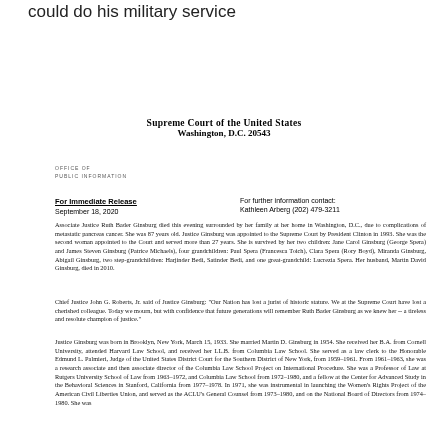could do his military service
Supreme Court of the United States
Washington, D.C. 20543
OFFICE OF
PUBLIC INFORMATION
For Immediate Release
September 18, 2020
For further information contact:
Kathleen Arberg (202) 479-3211
Associate Justice Ruth Bader Ginsburg died this evening surrounded by her family at her home in Washington, D.C., due to complications of metastatic pancreas cancer. She was 87 years old. Justice Ginsburg was appointed to the Supreme Court by President Clinton in 1993. She was the second woman appointed to the Court and served more than 27 years. She is survived by her two children: Jane Carol Ginsburg (George Spera) and James Steven Ginsburg (Patrice Michaels), four grandchildren: Paul Spera (Francesca Toich), Clara Spera (Rory Boyd), Miranda Ginsburg, Abigail Ginsburg, two step-grandchildren: Harjinder Bedi, Satinder Bedi, and one great-grandchild: Lucrezia Spera. Her husband, Martin David Ginsburg, died in 2010.
Chief Justice John G. Roberts, Jr. said of Justice Ginsburg: "Our Nation has lost a jurist of historic stature. We at the Supreme Court have lost a cherished colleague. Today we mourn, but with confidence that future generations will remember Ruth Bader Ginsburg as we knew her -- a tireless and resolute champion of justice."
Justice Ginsburg was born in Brooklyn, New York, March 15, 1933. She married Martin D. Ginsburg in 1954. She received her B.A. from Cornell University, attended Harvard Law School, and received her LL.B. from Columbia Law School. She served as a law clerk to the Honorable Edmund L. Palmieri, Judge of the United States District Court for the Southern District of New York, from 1959–1961. From 1961–1963, she was a research associate and then associate director of the Columbia Law School Project on International Procedure. She was a Professor of Law at Rutgers University School of Law from 1963–1972, and Columbia Law School from 1972–1980, and a fellow at the Center for Advanced Study in the Behavioral Sciences in Stanford, California from 1977–1978. In 1971, she was instrumental in launching the Women's Rights Project of the American Civil Liberties Union, and served as the ACLU's General Counsel from 1973–1980, and on the National Board of Directors from 1974–1980. She was